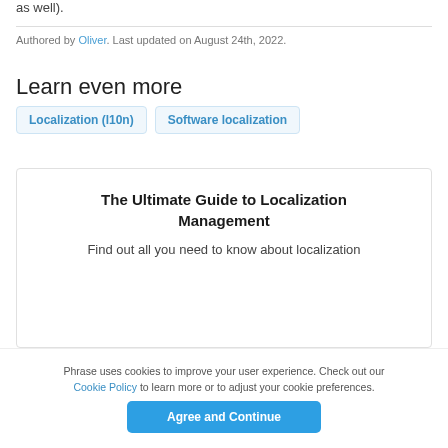as well).
Authored by Oliver. Last updated on August 24th, 2022.
Learn even more
Localization (l10n)
Software localization
The Ultimate Guide to Localization Management
Find out all you need to know about localization
Phrase uses cookies to improve your user experience. Check out our Cookie Policy to learn more or to adjust your cookie preferences.
Agree and Continue